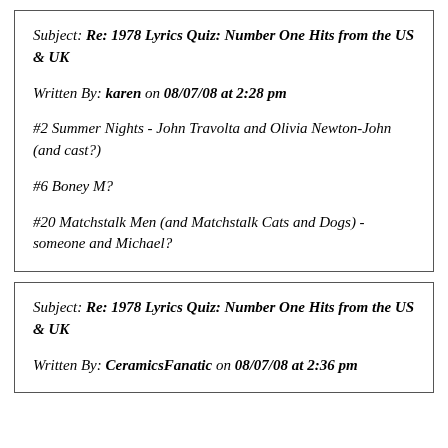Subject: Re: 1978 Lyrics Quiz: Number One Hits from the US & UK
Written By: karen on 08/07/08 at 2:28 pm
#2 Summer Nights - John Travolta and Olivia Newton-John (and cast?)
#6 Boney M?
#20 Matchstalk Men (and Matchstalk Cats and Dogs) - someone and Michael?
Subject: Re: 1978 Lyrics Quiz: Number One Hits from the US & UK
Written By: CeramicsFanatic on 08/07/08 at 2:36 pm